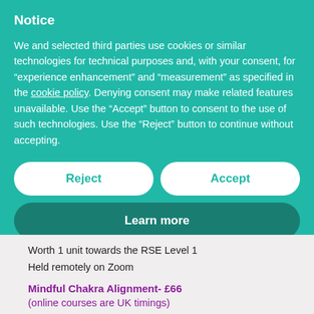Notice
We and selected third parties use cookies or similar technologies for technical purposes and, with your consent, for “experience enhancement” and “measurement” as specified in the cookie policy. Denying consent may make related features unavailable. Use the “Accept” button to consent to the use of such technologies. Use the “Reject” button to continue without accepting.
Reject
Accept
Learn more
Worth 1 unit towards the RSE Level 1
Held remotely on Zoom
Mindful Chakra Alignment- £66
(online courses are UK timings)